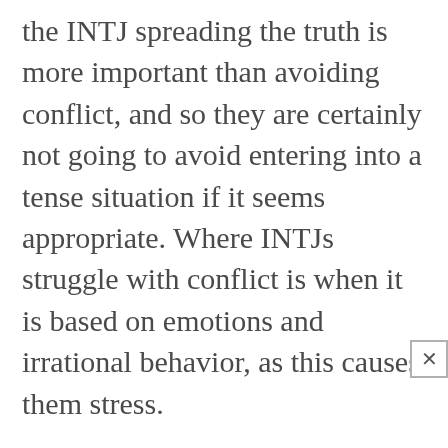the INTJ spreading the truth is more important than avoiding conflict, and so they are certainly not going to avoid entering into a tense situation if it seems appropriate. Where INTJs struggle with conflict is when it is based on emotions and irrational behavior, as this causes them stress.
Why They Deal With Conflict
For the INTJ conflict is simply a part of life, and they recognize this as something which they have to deal with. There are times when the INTJ might even be drawn to conflict, especially if they know the end result will help them grow and learn. INTJs